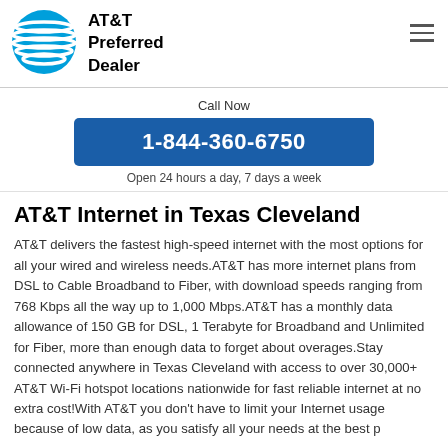AT&T Preferred Dealer
Call Now
1-844-360-6750
Open 24 hours a day, 7 days a week
AT&T Internet in Texas Cleveland
AT&T delivers the fastest high-speed internet with the most options for all your wired and wireless needs.AT&T has more internet plans from DSL to Cable Broadband to Fiber, with download speeds ranging from 768 Kbps all the way up to 1,000 Mbps.AT&T has a monthly data allowance of 150 GB for DSL, 1 Terabyte for Broadband and Unlimited for Fiber, more than enough data to forget about overages.Stay connected anywhere in Texas Cleveland with access to over 30,000+ AT&T Wi-Fi hotspot locations nationwide for fast reliable internet at no extra cost!With AT&T you don't have to limit your Internet usage because of low data, as you satisfy all your needs at the best p...